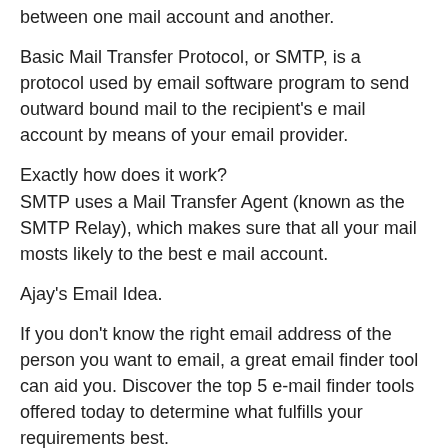between one mail account and another.
Basic Mail Transfer Protocol, or SMTP, is a protocol used by email software program to send outward bound mail to the recipient's e mail account by means of your email provider.
Exactly how does it work?
SMTP uses a Mail Transfer Agent (known as the SMTP Relay), which makes sure that all your mail mosts likely to the best e mail account.
Ajay's Email Idea.
If you don't know the right email address of the person you want to email, a great email finder tool can aid you. Discover the top 5 e-mail finder tools offered today to determine what fulfills your requirements best.
The SMTP Relay aids send out email from SMTP